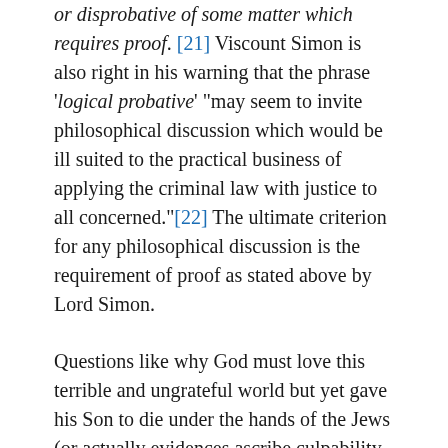or disprobative of some matter which requires proof. [21] Viscount Simon is also right in his warning that the phrase 'logical probative' "may seem to invite philosophical discussion which would be ill suited to the practical business of applying the criminal law with justice to all concerned."[22] The ultimate criterion for any philosophical discussion is the requirement of proof as stated above by Lord Simon.
Questions like why God must love this terrible and ungrateful world but yet gave his Son to die under the hands of the Jews (or actually evidences ascribe culpability on the Romans) are theological questions, of which could not prove whether the fact that God demonstrated His love through the